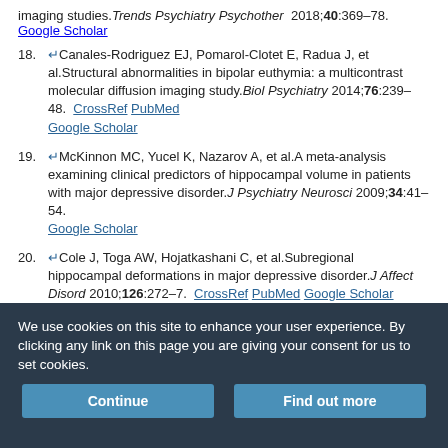imaging studies. Trends Psychiatry Psychother 2018;40:369–78. Google Scholar
18. ↵Canales-Rodriguez EJ, Pomarol-Clotet E, Radua J, et al.Structural abnormalities in bipolar euthymia: a multicontrast molecular diffusion imaging study.Biol Psychiatry 2014;76:239–48. CrossRef PubMed Google Scholar
19. ↵McKinnon MC, Yucel K, Nazarov A, et al.A meta-analysis examining clinical predictors of hippocampal volume in patients with major depressive disorder.J Psychiatry Neurosci 2009;34:41–54. Google Scholar
20. ↵Cole J, Toga AW, Hojatkashani C, et al.Subregional hippocampal deformations in major depressive disorder.J Affect Disord 2010;126:272–7. CrossRef PubMed Google Scholar
We use cookies on this site to enhance your user experience. By clicking any link on this page you are giving your consent for us to set cookies. Continue Find out more